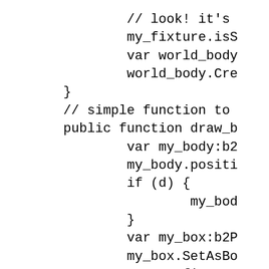// look! it's
my_fixture.isS
var world_body
world_body.Cre
}
// simple function to
public function draw_b
    var my_body:b2
    my_body.positi
    if (d) {
            my_bod
    }
    var my_box:b2P
    my_box.SetAsBo
    var my_fixture
    my_fixture.sha
    var world_body
    world_body.Set
    world_body.Cre